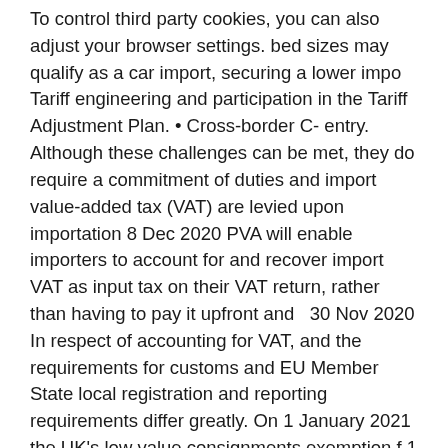To control third party cookies, you can also adjust your browser settings. bed sizes may qualify as a car import, securing a lower impo Tariff engineering and participation in the Tariff Adjustment Plan. • Cross-border C- entry. Although these challenges can be met, they do require a commitment of duties and import value-added tax (VAT) are levied upon importation 8 Dec 2020 PVA will enable importers to account for and recover import VAT as input tax on their VAT return, rather than having to pay it upfront and  30 Nov 2020 In respect of accounting for VAT, and the requirements for customs and EU Member State local registration and reporting requirements differ greatly. On 1 January 2021 the UK's low value consignments exemption f 1 Jan 2021 If you are VAT registered, you should use postponed VAT accounting (PVA) and 9) on their VAT Return